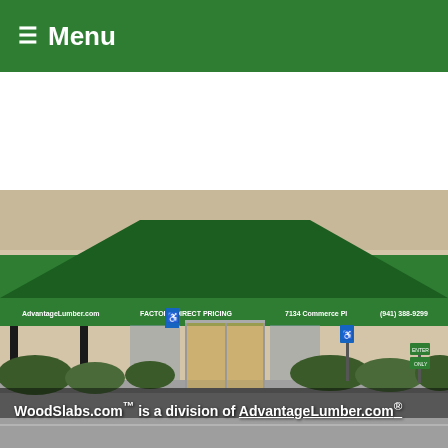≡ Menu
[Figure (photo): Exterior photo of AdvantageLumber.com retail/warehouse building with a dark green awning. The awning reads: AdvantageLumber.com, Factory Direct Pricing, 7134 Commerce Pl, (941) 388-9299. There are handicap parking signs visible. Bushes and shrubs line the front of the building. The entrance has large glass doors.]
WoodSlabs.com™ is a division of AdvantageLumber.com®